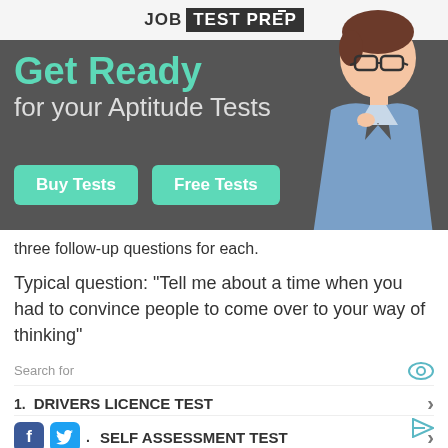[Figure (logo): JobTestPrep logo with black rectangle around TEST PREP text]
[Figure (illustration): Illustrated man in blue blazer with glasses looking thoughtful, standing against dark grey banner]
Get Ready for your Aptitude Tests
[Figure (infographic): Two green buttons: Buy Tests and Free Tests]
three follow-up questions for each.
Typical question: “Tell me about a time when you had to convince people to come over to your way of thinking”
Search for
1. DRIVERS LICENCE TEST
2. SELF ASSESSMENT TEST